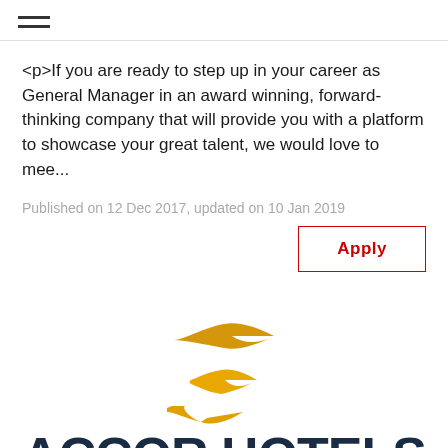☰
<p>If you are ready to step up in your career as General Manager in an award winning, forward-thinking company that will provide you with a platform to showcase your great talent, we would love to mee...
Published on 12 Dec 2017, updated on 10 Jan 2019
Apply
[Figure (logo): AccorHotels logo with golden bird/arrow icon above bold dark navy text 'ACCOR HOTELS' and tagline 'Feel Welcome']